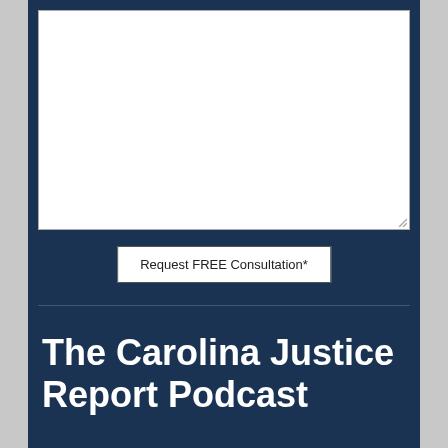[Figure (screenshot): White textarea input box with resize handle in bottom-right corner, on a dark navy blue background]
Request FREE Consultation*
The Carolina Justice Report Podcast